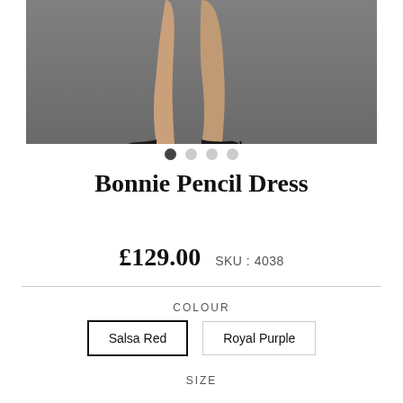[Figure (photo): Cropped photo showing a model's legs wearing black high heel pumps against a grey background]
Bonnie Pencil Dress
£129.00  SKU : 4038
COLOUR
Salsa Red
Royal Purple
SIZE